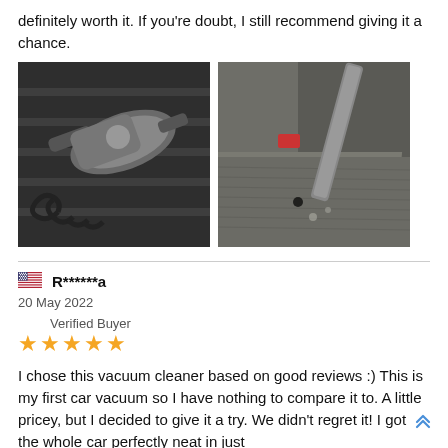definitely worth it. If you're doubt, I still recommend giving it a chance.
[Figure (photo): Two photos side by side: left shows a handheld car vacuum cleaner with attachments on a dark surface; right shows the vacuum cleaner being used on a car seat/carpet.]
R******a
20 May 2022
Verified Buyer
★★★★★
I chose this vacuum cleaner based on good reviews :) This is my first car vacuum so I have nothing to compare it to. A little pricey, but I decided to give it a try. We didn't regret it! I got the whole car perfectly neat in just